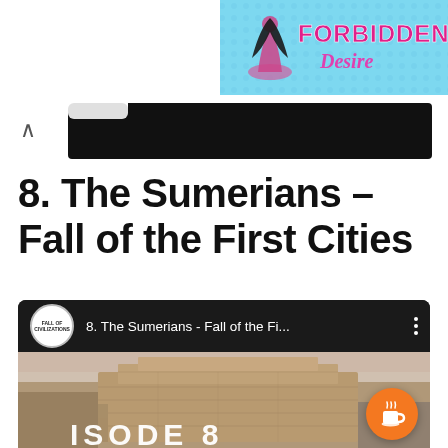[Figure (illustration): Advertisement banner for 'Forbidden Desire' with cyan/blue background, silhouette of a woman, bold pink text reading FORBIDDEN and italic pink text reading Desire]
[Figure (screenshot): Black navigation bar area with a caret/chevron up arrow on the left side]
8. The Sumerians – Fall of the First Cities
[Figure (screenshot): Podcast player card for 'Fall of Civilizations' showing episode '8. The Sumerians - Fall of the Fi...' with a landscape photo of ancient ruins (a ziggurat or mud-brick structure) and partial text 'ISODE 8' at bottom. An orange coffee cup button appears in the lower right.]